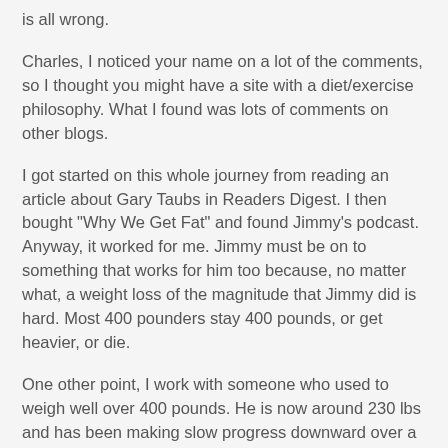is all wrong.
Charles, I noticed your name on a lot of the comments, so I thought you might have a site with a diet/exercise philosophy. What I found was lots of comments on other blogs.
I got started on this whole journey from reading an article about Gary Taubs in Readers Digest. I then bought "Why We Get Fat" and found Jimmy's podcast. Anyway, it worked for me. Jimmy must be on to something that works for him too because, no matter what, a weight loss of the magnitude that Jimmy did is hard. Most 400 pounders stay 400 pounds, or get heavier, or die.
One other point, I work with someone who used to weigh well over 400 pounds. He is now around 230 lbs and has been making slow progress downward over a long timeframe using a low carb/paleo diet too. I don't think it's the perfect diet, or the only diet, but damn it worked for me.
I guess you could say that eating low fat and